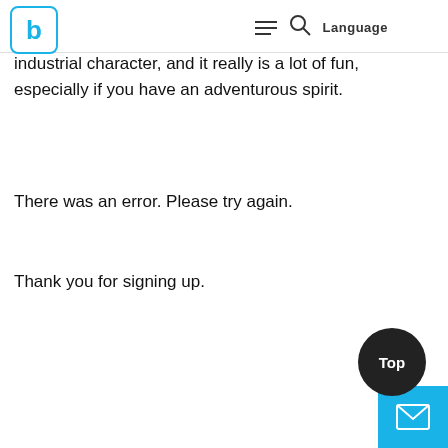b [logo] [hamburger] [search] Language
they are hard to heat and cool. But Walker has accepted their limitations and acknowledged their industrial character, and it really is a lot of fun, especially if you have an adventurous spirit.
There was an error. Please try again.
Thank you for signing up.